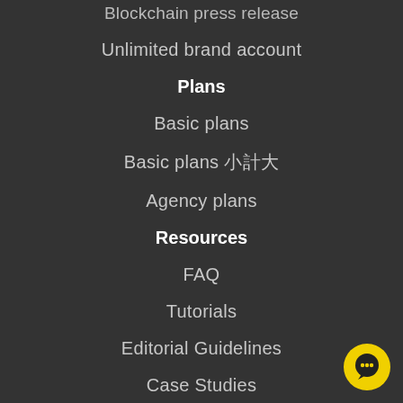Blockchain press release
Unlimited brand account
Plans
Basic plans
Basic plans 한국어
Agency plans
Resources
FAQ
Tutorials
Editorial Guidelines
Case Studies
Blog
[Figure (illustration): Yellow circular chat button with dark chat bubble icon in bottom right corner]